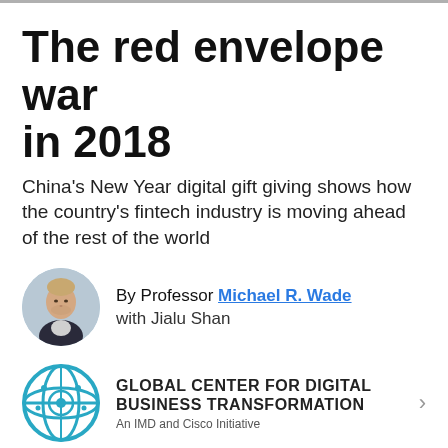The red envelope war in 2018
China's New Year digital gift giving shows how the country's fintech industry is moving ahead of the rest of the world
By Professor Michael R. Wade with Jialu Shan
[Figure (photo): Circular portrait photo of Professor Michael R. Wade]
[Figure (logo): Global Center for Digital Business Transformation logo - circular globe icon in teal/blue]
GLOBAL CENTER FOR DIGITAL BUSINESS TRANSFORMATION An IMD and Cisco Initiative